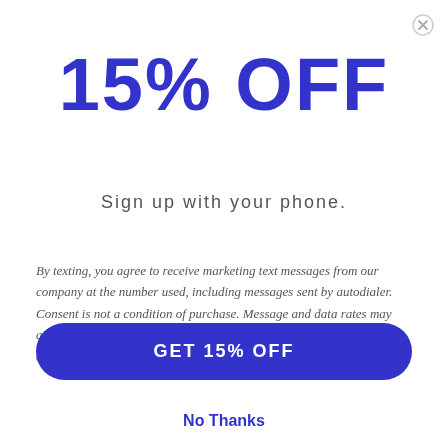15% OFF
Sign up with your phone.
By texting, you agree to receive marketing text messages from our company at the number used,  including messages sent by autodialer. Consent is not a condition of purchase. Message and data rates may apply. Message frequency varies. Reply HELP for help or STOP to cancel. View our Privacy Policy and Terms of Service.
GET 15% OFF
No Thanks